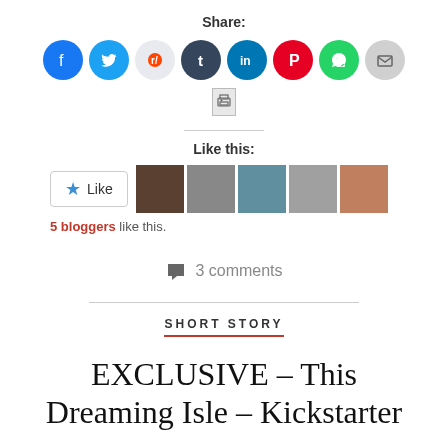Share:
[Figure (infographic): Row of social media sharing icons: Facebook (blue), Twitter (blue), Reddit (light blue), Tumblr (dark navy), LinkedIn (blue), Pinterest (red), WhatsApp (green), Email (grey), Print (light grey)]
Like this:
[Figure (infographic): Like button with blue star icon and text 'Like', followed by 5 blogger avatar thumbnails]
5 bloggers like this.
3 comments
SHORT STORY
EXCLUSIVE – This Dreaming Isle – Kickstarter